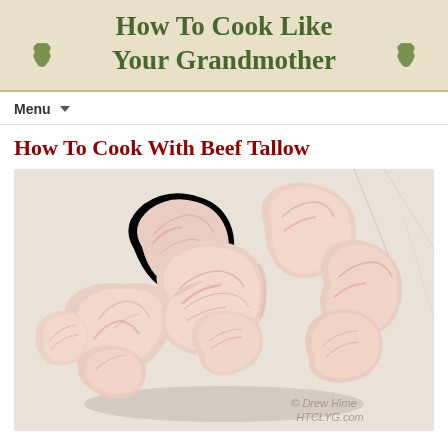How To Cook Like Your Grandmother
Menu
How To Cook With Beef Tallow
[Figure (photo): Raw beef tallow fat pieces piled on white butcher paper, with watermark text '© Drew Hime HTCLYG.com' in the lower right corner.]